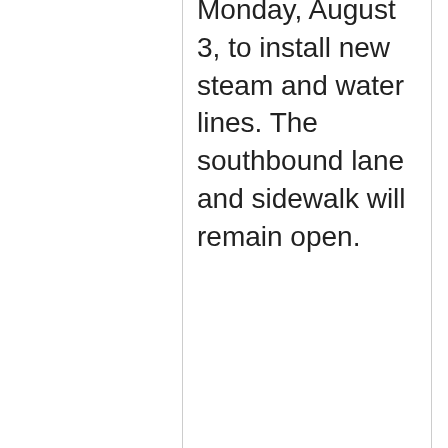Monday, August 3, to install new steam and water lines. The southbound lane and sidewalk will remain open.
closed #134885 Website & Web Services Feedback
Case Date: 10/21,